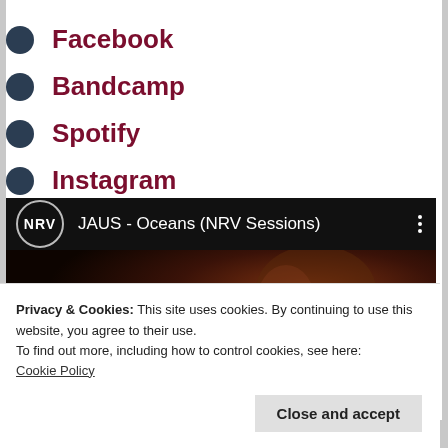Facebook
Bandcamp
Spotify
Instagram
[Figure (screenshot): YouTube-style video embed showing 'JAUS - Oceans (NRV Sessions)' with NRV logo, dark video thumbnail of a recording session]
Privacy & Cookies: This site uses cookies. By continuing to use this website, you agree to their use.
To find out more, including how to control cookies, see here:
Cookie Policy
Close and accept